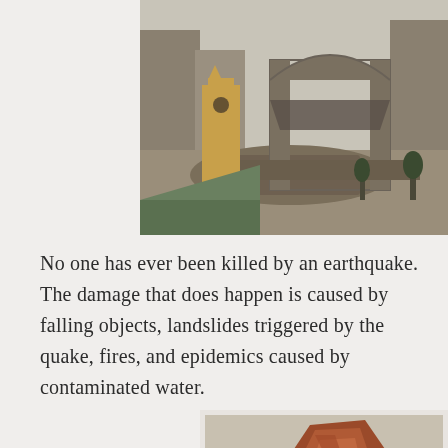[Figure (photo): Aerial view of earthquake-damaged buildings. A church with a clock tower stands amid rubble; a large structure behind it has collapsed into ruins. Surrounding apartment buildings visible in background.]
No one has ever been killed by an earthquake. The damage that does happen is caused by falling objects, landslides triggered by the quake, fires, and epidemics caused by contaminated water.
[Figure (photo): Partially visible image of what appears to be a reddish-brown rocky or earthen formation, cropped at the bottom of the page.]